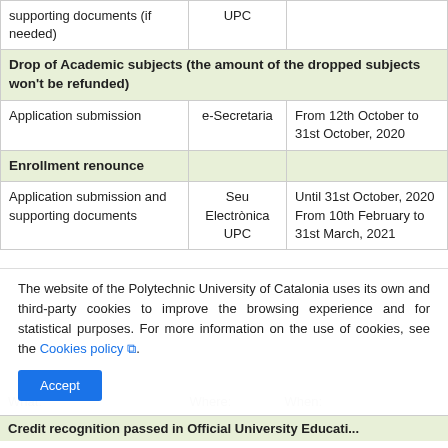| What: | Where: | When: |
| --- | --- | --- |
| supporting documents (if needed) | UPC |  |
| Drop of Academic subjects (the amount of the dropped subjects won't be refunded) |  |  |
| Application submission | e-Secretaria | From 12th October to 31st October, 2020 |
| Enrollment renounce |  |  |
| Application submission and supporting documents | Seu Electrònica UPC | Until 31st October, 2020 From 10th February to 31st March, 2021 |
The website of the Polytechnic University of Catalonia uses its own and third-party cookies to improve the browsing experience and for statistical purposes. For more information on the use of cookies, see the Cookies policy.
Accept